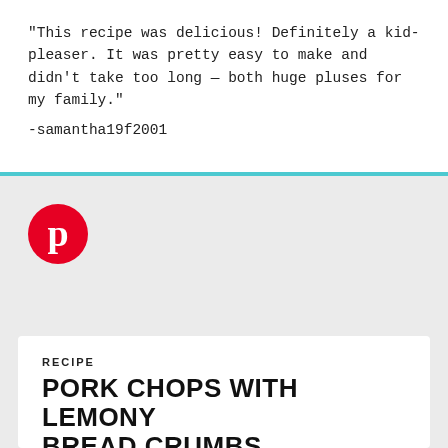"This recipe was delicious! Definitely a kid-pleaser. It was pretty easy to make and didn't take too long — both huge pluses for my family."
-samantha19f2001
[Figure (logo): Pinterest logo — red circle with white 'p' letter icon]
RECIPE
PORK CHOPS WITH LEMONY BREAD CRUMBS